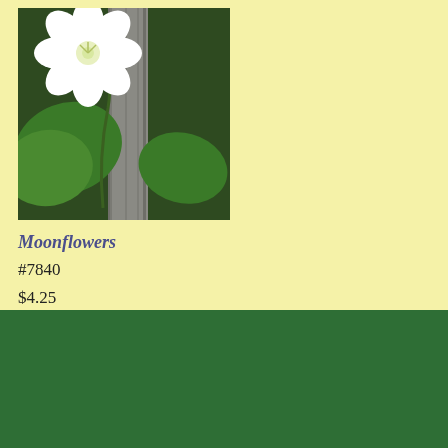[Figure (photo): Photograph of a white moonflower bloom with large green leaves growing on a wooden fence post]
Moonflowers
#7840
$4.25
John Scheepers Kitchen Garden Seeds™